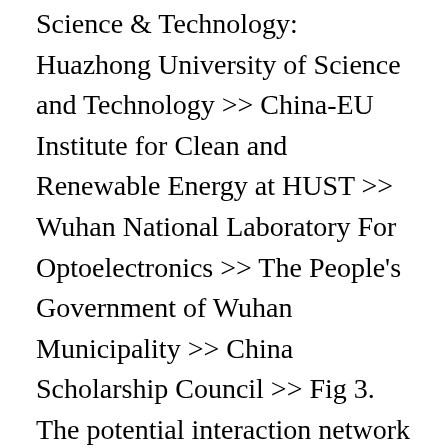Science & Technology: Huazhong University of Science and Technology >> China-EU Institute for Clean and Renewable Energy at HUST >> Wuhan National Laboratory For Optoelectronics >> The People's Government of Wuhan Municipality >> China Scholarship Council >> Fig 3. The potential interaction network at the interface between T7 helicase and primase domains in the hexamer functional unit (A) and the proposed switching among interacting residues in priming (B) and unwinding (C) states were shown. ), Computer Science, English Experience Charles River Development January 2012 – ... Provided by your current/previous school/company in